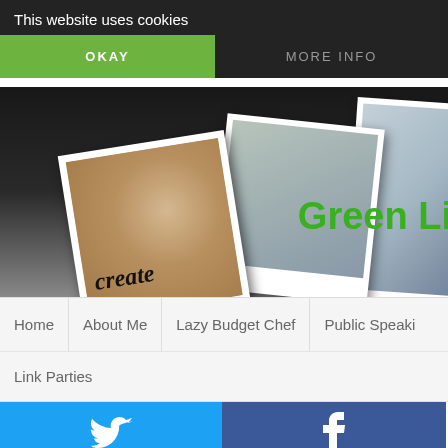This website uses cookies
OKAY
MORE INFO
[Figure (screenshot): Blog header hero image with polaroid-style photos (one saying 'create'), partial green 'Green Li...' logo text, green clover graphic top right, dark background]
Home
About Me
Lazy Budget Chef
Public Speaki...
Link Parties
[Figure (infographic): Social share buttons grid: Twitter (light blue), Facebook (dark blue), Email/envelope (gray), WhatsApp (green), SMS (light blue), share/rotate icon (green). Also partial 'Savi...' text and 'Husba...' text visible on right.]